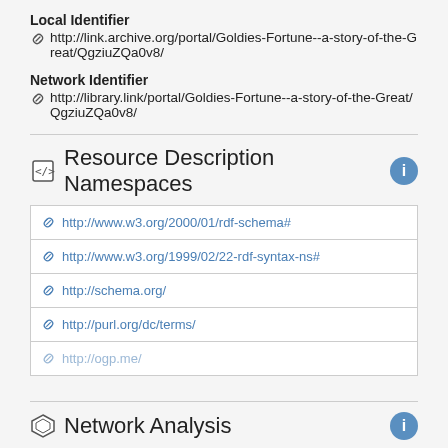Local Identifier
http://link.archive.org/portal/Goldies-Fortune--a-story-of-the-Great/QgziuZQa0v8/
Network Identifier
http://library.link/portal/Goldies-Fortune--a-story-of-the-Great/QgziuZQa0v8/
Resource Description Namespaces
http://www.w3.org/2000/01/rdf-schema#
http://www.w3.org/1999/02/22-rdf-syntax-ns#
http://schema.org/
http://purl.org/dc/terms/
http://ogp.me/
Network Analysis